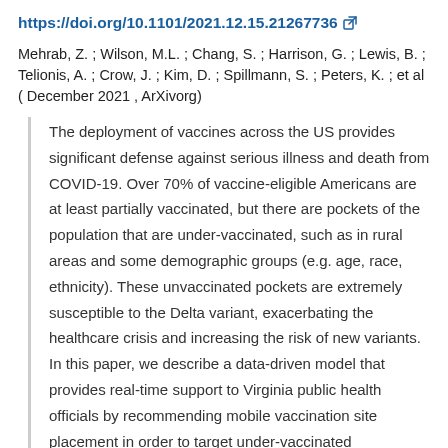https://doi.org/10.1101/2021.12.15.21267736
Mehrab, Z. ; Wilson, M.L. ; Chang, S. ; Harrison, G. ; Lewis, B. ; Telionis, A. ; Crow, J. ; Kim, D. ; Spillmann, S. ; Peters, K. ; et al ( December 2021 , ArXivorg)
The deployment of vaccines across the US provides significant defense against serious illness and death from COVID-19. Over 70% of vaccine-eligible Americans are at least partially vaccinated, but there are pockets of the population that are under-vaccinated, such as in rural areas and some demographic groups (e.g. age, race, ethnicity). These unvaccinated pockets are extremely susceptible to the Delta variant, exacerbating the healthcare crisis and increasing the risk of new variants. In this paper, we describe a data-driven model that provides real-time support to Virginia public health officials by recommending mobile vaccination site placement in order to target under-vaccinated populations. more »